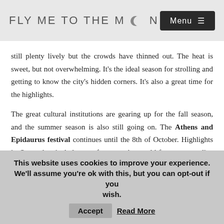FLY ME TO THE MOON  Menu
still plenty lively but the crowds have thinned out. The heat is sweet, but not overwhelming. It's the ideal season for strolling and getting to know the city's hidden corners. It's also a great time for the highlights.
The great cultural institutions are gearing up for the fall season, and the summer season is also still going on. The Athens and Epidaurus festival continues until the 8th of October. Highlights in September include a performance by world-famous comedian John Cleese, and a concert of the
This website uses cookies to improve your experience. We'll assume you're ok with this, but you can opt-out if you wish.  Accept  Read More